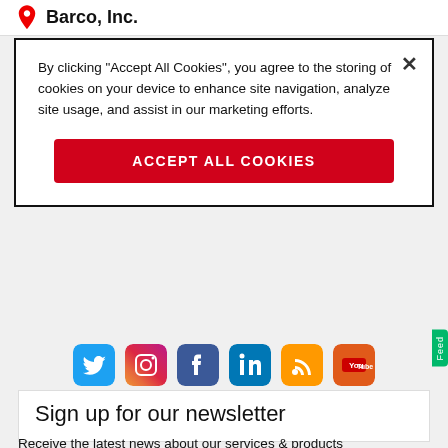Barco, Inc.
By clicking “Accept All Cookies”, you agree to the storing of cookies on your device to enhance site navigation, analyze site usage, and assist in our marketing efforts.
Accept All Cookies
[Figure (infographic): Social media icons row: Twitter (blue), Instagram (gradient), Facebook (dark blue), LinkedIn (dark blue), RSS (orange), YouTube (red-orange)]
Sign up for our newsletter
Receive the latest news about our services & products
Enter your email address